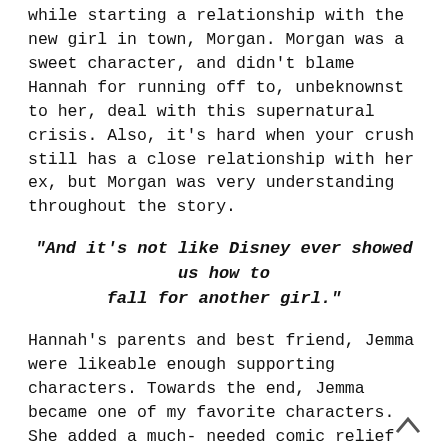while starting a relationship with the new girl in town, Morgan. Morgan was a sweet character, and didn't blame Hannah for running off to, unbeknownst to her, deal with this supernatural crisis. Also, it's hard when your crush still has a close relationship with her ex, but Morgan was very understanding throughout the story.
"And it's not like Disney ever showed us how to fall for another girl."
Hannah's parents and best friend, Jemma were likeable enough supporting characters. Towards the end, Jemma became one of my favorite characters. She added a much-needed comic relief to the story. Also, she was quick to defend Hannah to other people in her life. Hannah's parents might not have understood their daughter at times, but you